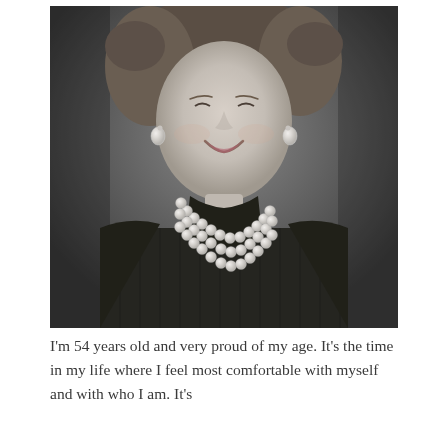[Figure (photo): Black and white portrait photograph of a woman smiling, wearing a black turtleneck sweater and a multi-strand pearl necklace, with pearl drop earrings.]
I'm 54 years old and very proud of my age. It's the time in my life where I feel most comfortable with myself and with who I am. It's